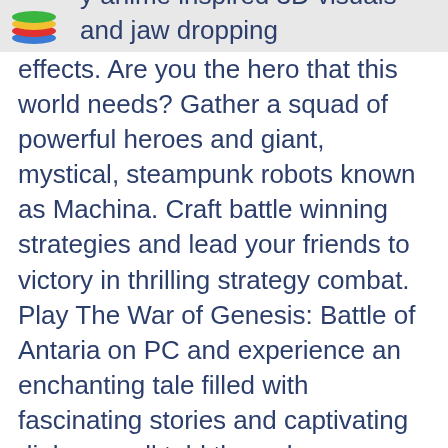[Figure (logo): Colorful stacked layers logo (green, yellow, red, blue) in top left corner]
y anime inspired 3D visuals and jaw dropping effects. Are you the hero that this world needs? Gather a squad of powerful heroes and giant, mystical, steampunk robots known as Machina. Craft battle winning strategies and lead your friends to victory in thrilling strategy combat. Play The War of Genesis: Battle of Antaria on PC and experience an enchanting tale filled with fascinating stories and captivating dialogue, all told through spectacular 3D animations and hand crafted illustrations. Recruit new heroes and summon powerful Machina on your quest and fulfill your hero's destiny! Play with or against other players from across the world in the expansive multiplayer options. Join a Guild and battle fearsome raid bosses to earn cool new loot that you can use to strengthen your party. Dive into